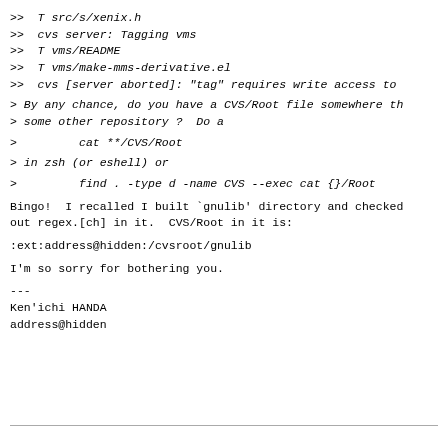>> T src/s/xenix.h
>> cvs server: Tagging vms
>> T vms/README
>> T vms/make-mms-derivative.el
>> cvs [server aborted]: "tag" requires write access to
> By any chance, do you have a CVS/Root file somewhere th
> some other repository ?  Do a
>         cat **/CVS/Root
> in zsh (or eshell) or
>         find . -type d -name CVS --exec cat {}/Root
Bingo!  I recalled I built `gnulib' directory and checked
out regex.[ch] in it.  CVS/Root in it is:
:ext:address@hidden:/cvsroot/gnulib
I'm so sorry for bothering you.
---
Ken'ichi HANDA
address@hidden